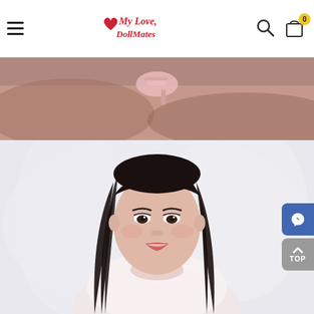My Love Doll Mates — navigation bar with hamburger menu, logo, search icon, cart icon with badge 0
[Figure (photo): Top portion of a product photo showing a doll's feet/legs with pink high-heel shoes resting on a brown fluffy fur surface]
[Figure (photo): Main product photo of a realistic female doll with long black hair, wearing a white lace dress with pearl necklace, posed against a soft white background]